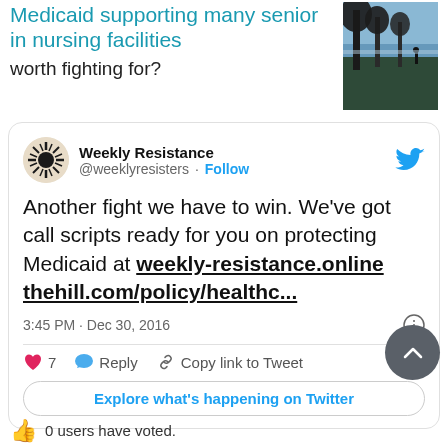Medicaid supporting many senior in nursing facilities
worth fighting for?
[Figure (photo): Outdoor photo showing silhouetted trees against a coastal/beach background with ocean view]
[Figure (screenshot): Embedded tweet card from Weekly Resistance (@weeklyresisters) with text: Another fight we have to win. We've got call scripts ready for you on protecting Medicaid at weekly-resistance.online thehill.com/policy/healthc... posted at 3:45 PM - Dec 30, 2016, with 7 likes, Reply, Copy link to Tweet actions, and Explore what's happening on Twitter button]
0 users have voted.